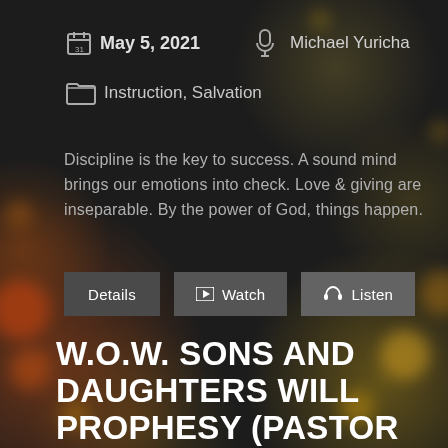May 5, 2021   Michael Yuricha
Instruction, Salvation
Discipline is the key to success. A sound mind brings our emotions into check. Love & giving are inseparable. By the power of God, things happen.
Details  Watch  Listen
W.O.W. SONS AND DAUGHTERS WILL PROPHESY (PASTOR NANCY CRINION)